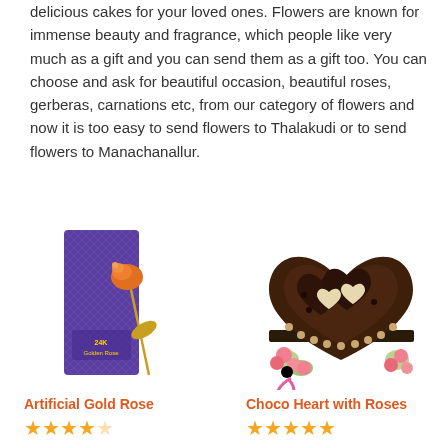delicious cakes for your loved ones. Flowers are known for immense beauty and fragrance, which people like very much as a gift and you can send them as a gift too. You can choose and ask for beautiful occasion, beautiful roses, gerberas, carnations etc, from our category of flowers and now it is too easy to send flowers to Thalakudi or to send flowers to Manachanallur.
[Figure (photo): A 24K Golden Rose product in purple box packaging with a gold-colored artificial rose]
Artificial Gold Rose
★★★★☆ (4 out of 5 stars)
[Figure (photo): A chocolate heart-shaped cake decorated with chocolate hearts and surrounded by pink roses]
Choco Heart with Roses
★★★★★ (5 out of 5 stars)